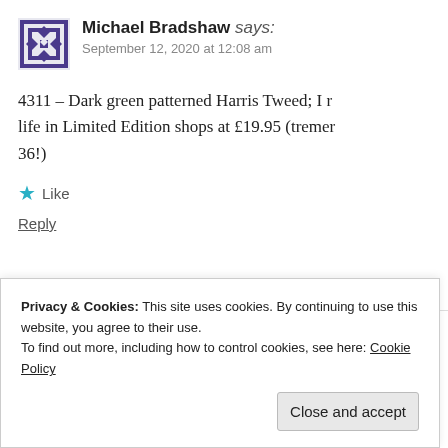Michael Bradshaw says: September 12, 2020 at 12:08 am
4311 – Dark green patterned Harris Tweed; I r... life in Limited Edition shops at £19.95 (tremer... 36!)
Like
Reply
Privacy & Cookies: This site uses cookies. By continuing to use this website, you agree to their use.
To find out more, including how to control cookies, see here: Cookie Policy
Close and accept